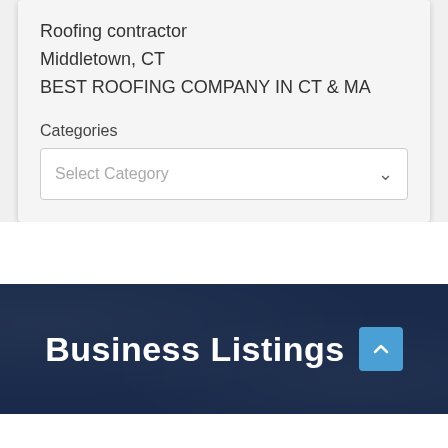Roofing contractor
Middletown, CT
BEST ROOFING COMPANY IN CT & MA
Categories
Select Category
Business Listings